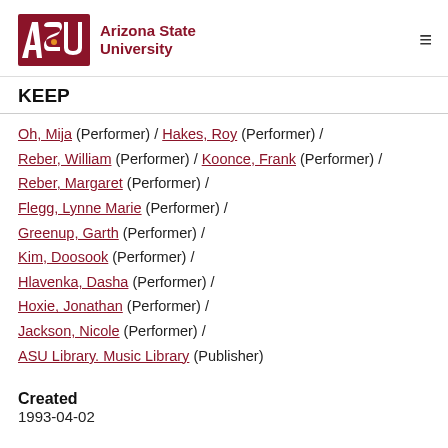Arizona State University — KEEP
KEEP
Oh, Mija (Performer) / Hakes, Roy (Performer) / Reber, William (Performer) / Koonce, Frank (Performer) / Reber, Margaret (Performer) / Flegg, Lynne Marie (Performer) / Greenup, Garth (Performer) / Kim, Doosook (Performer) / Hlavenka, Dasha (Performer) / Hoxie, Jonathan (Performer) / Jackson, Nicole (Performer) / ASU Library. Music Library (Publisher)
Created
1993-04-02